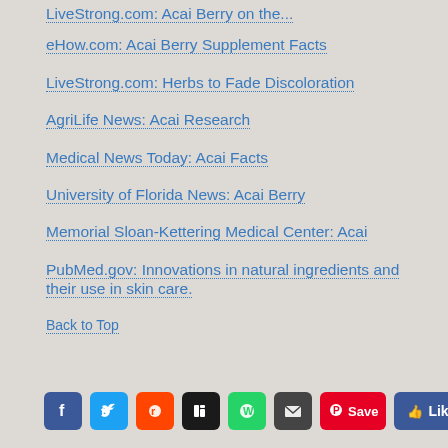eHow.com: Acai Berry Supplement Facts
LiveStrong.com: Herbs to Fade Discoloration
AgriLife News: Acai Research
Medical News Today: Acai Facts
University of Florida News: Acai Berry
Memorial Sloan-Kettering Medical Center: Acai
PubMed.gov: Innovations in natural ingredients and their use in skin care.
Back to Top
[Figure (other): Social media sharing icons: Facebook, Twitter, Reddit, Digg, WhatsApp, Email, Pinterest Save, Facebook Like button, and a plus/share button]